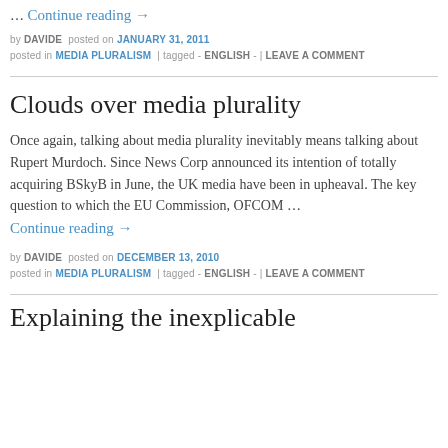… Continue reading →
by DAVIDE posted on JANUARY 31, 2011 posted in MEDIA PLURALISM | tagged - ENGLISH - | LEAVE A COMMENT
Clouds over media plurality
Once again, talking about media plurality inevitably means talking about Rupert Murdoch. Since News Corp announced its intention of totally acquiring BSkyB in June, the UK media have been in upheaval. The key question to which the EU Commission, OFCOM … Continue reading →
by DAVIDE posted on DECEMBER 13, 2010 posted in MEDIA PLURALISM | tagged - ENGLISH - | LEAVE A COMMENT
Explaining the inexplicable